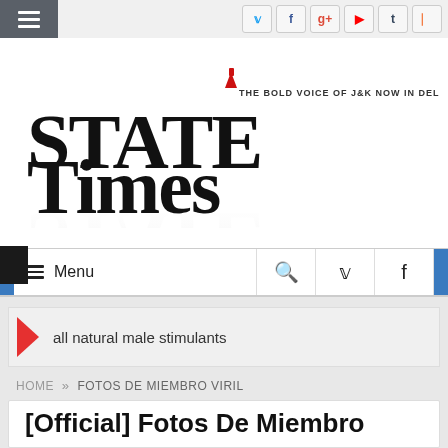State Times - THE BOLD VOICE OF J&K NOW IN DELHI
[Figure (logo): State Times newspaper logo with tagline 'THE BOLD VOICE OF J&K NOW IN DELHI'. Large stylized text 'STATE TIMES' with a red fountain pen nib above the 'T'.]
Menu
all natural male stimulants
HOME » FOTOS DE MIEMBRO VIRIL
[Official] Fotos De Miembro